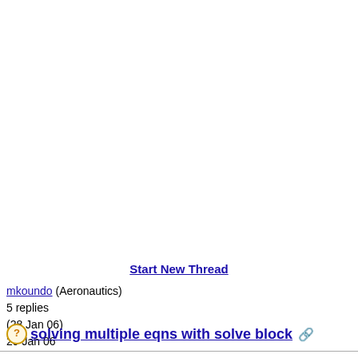Start New Thread
mkoundo (Aeronautics)
5 replies
(28 Jan 06)
29 Jan 06
solving multiple eqns with solve block